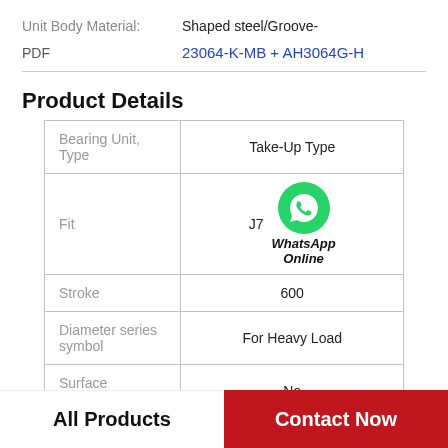Unit Body Material: Shaped steel/Groove-
PDF  23064-K-MB + AH3064G-H
Product Details
|  |  |
| --- | --- |
| Bearing Unit, Type | Take-Up Type |
| Fit | J7 |
| Stroke | 600 |
| Diameter series symbol | For Heavy Load |
| Surface Treatment | No |
All Products
Contact Now